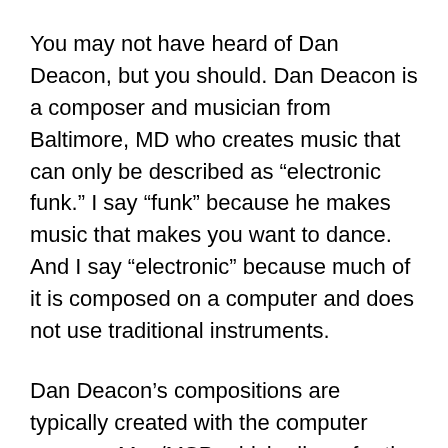You may not have heard of Dan Deacon, but you should. Dan Deacon is a composer and musician from Baltimore, MD who creates music that can only be described as “electronic funk.” I say “funk” because he makes music that makes you want to dance. And I say “electronic” because much of it is composed on a computer and does not use traditional instruments.
Dan Deacon’s compositions are typically created with the computer program Max/MSP, which allows for the manipulation of sound in many ways. One common technique used by Mr. Deacon is to take a sound, such as a flute tone, and to manipulate it so that it sounds like it is